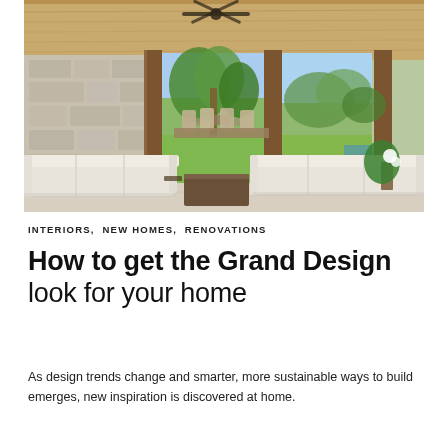[Figure (photo): Interior photo of a modern open-plan living and dining space with white sofas, wooden ceiling, stone wall feature, and large openings to a lush tropical garden with palm trees and green lawn.]
INTERIORS,  NEW HOMES,  RENOVATIONS
How to get the Grand Design look for your home
As design trends change and smarter, more sustainable ways to build emerges, new inspiration is discovered at home.